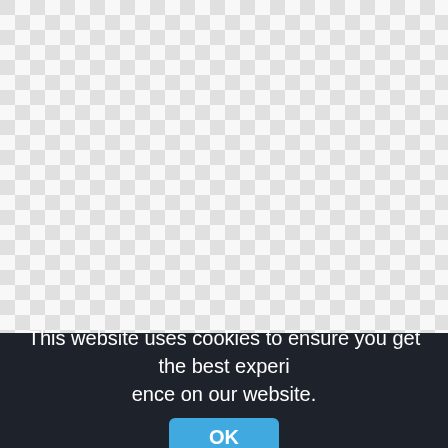[Figure (illustration): Transparent checkerboard pattern background representing a PNG image with transparency. The image area shows a grey and white checkerboard typical of image editors indicating transparency, for a Lego Super Heroes Justice League Cyborg Minifigure / super mario png.]
Lego Super Heroes, Justice League Cyborg Minifigure,super mario png
This website uses cookies to ensure you get the best experience on our website.